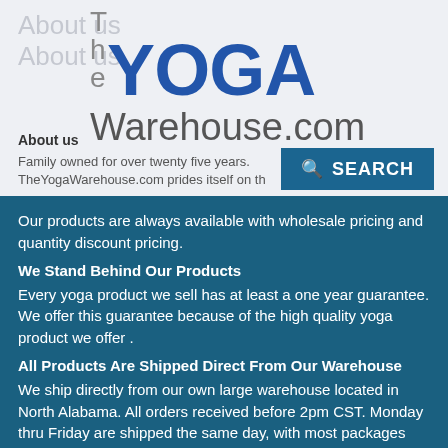The YOGA Warehouse.com
About us
About us
Family owned for over twenty five years. TheYogaWarehouse.com prides itself on the products we offer to the public, yoga studios and intuitions.
Our products are always available with wholesale pricing and quantity discount pricing.
We Stand Behind Our Products
Every yoga product we sell has at least a one year guarantee. We offer this guarantee because of the high quality yoga product we offer .
All Products Are Shipped Direct From Our Warehouse
We ship directly from our own large warehouse located in North Alabama. All orders received before 2pm CST. Monday thru Friday are shipped the same day, with most packages received in one to five business days.